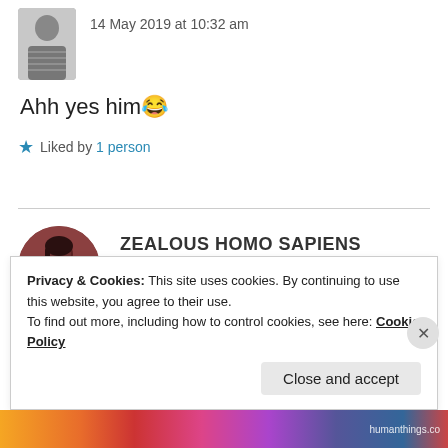[Figure (photo): Profile photo of a person in a patterned outfit, shown from waist up, rectangular crop]
14 May 2019 at 10:32 am
Ahh yes him 😂
★ Liked by 1 person
[Figure (photo): Circular profile avatar of ZEALOUS HOMO SAPIENS — a person with dark hair against a reddish-brown background]
ZEALOUS HOMO SAPIENS
14 May 2019 at 11:56 am
Privacy & Cookies: This site uses cookies. By continuing to use this website, you agree to their use.
To find out more, including how to control cookies, see here: Cookie Policy
Close and accept